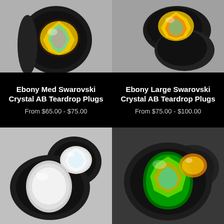[Figure (photo): Black ebony ear plug with medium Swarovski crystal AB teardrop gem, close-up photo]
[Figure (photo): Black ebony ear plugs with large Swarovski crystal AB teardrop gem, side view]
Ebony Med Swarovski Crystal AB Teardrop Plugs
From $65.00 - $75.00
Ebony Large Swarovski Crystal AB Teardrop Plugs
From $75.00 - $100.00
[Figure (photo): Black ebony double flare ear plugs with clear Swarovski crystal AB teardrop gem]
[Figure (photo): Black ebony ear plug with vitrail medium Swarovski crystal AB teardrop gem]